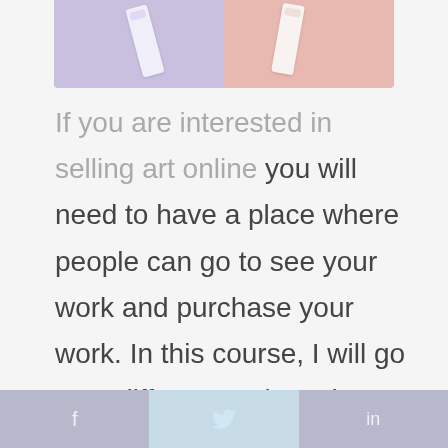[Figure (photo): Photo strip at top showing two cosmetic/skincare tubes on a split purple and pink background]
If you are interested in selling art online you will need to have a place where people can go to see your work and purchase your work. In this course, I will go over different options that are available for you to make the best decision for your goals.
f  [twitter bird]  in